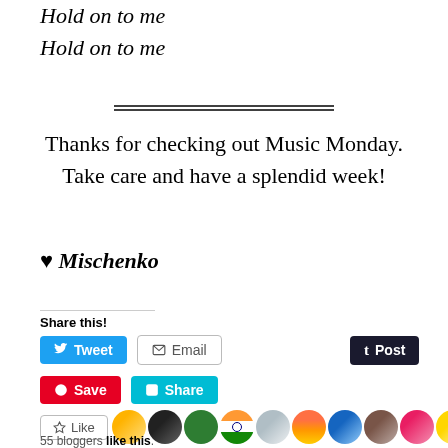Hold on to me
Hold on to me
Thanks for checking out Music Monday. Take care and have a splendid week!
♥ Mischenko
Share this!
[Figure (other): Social sharing buttons: Tweet, Email, Post (Tumblr), Save (Pinterest), Share (Skype)]
[Figure (other): Like button and avatar strip showing 55 bloggers like this]
55 bloggers like this.